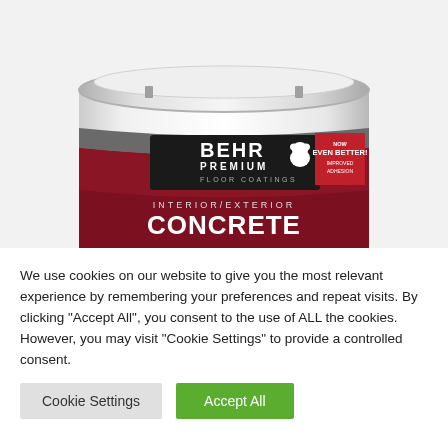[Figure (photo): A white 5-gallon paint bucket with a BEHR PREMIUM FLOOR COATINGS label. The label is dark red/maroon with grey band at top. Label text reads: BEHR PREMIUM FLOOR COATINGS, INTERIOR/EXTERIOR, CONCRETE. A red badge on the right says NOW EVEN BETTER! IMPROVED ADHESION.]
We use cookies on our website to give you the most relevant experience by remembering your preferences and repeat visits. By clicking "Accept All", you consent to the use of ALL the cookies. However, you may visit "Cookie Settings" to provide a controlled consent.
Cookie Settings
Accept All